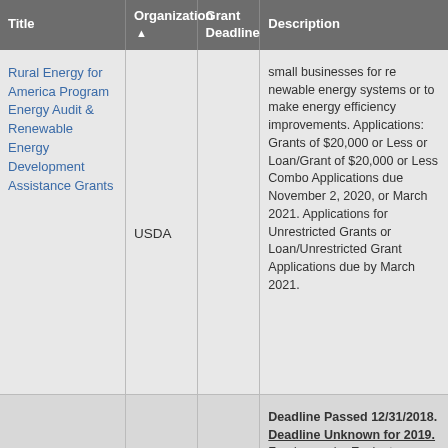| Title | Organization ▲ | Grant Deadline | Description |
| --- | --- | --- | --- |
| Rural Energy for America Program Energy Audit & Renewable Energy Development Assistance Grants | USDA |  | small businesses for renewable energy systems or to make energy efficiency improvements. Applications: Grants of $20,000 or Less or Loan/Grant of $20,000 or Less Combo Applications due November 2, 2020, or March 2021. Applications for Unrestricted Grants or Loan/Unrestricted Grant Applications due by March 2021. |
|  |  |  | Deadline Passed 12/31/2018. Deadline Unknown for 2019. Funds may be... Evaluate current landfill conditions to determine water resources in rural... provide technical assistance and/or training to enhance operator skills in the m... |